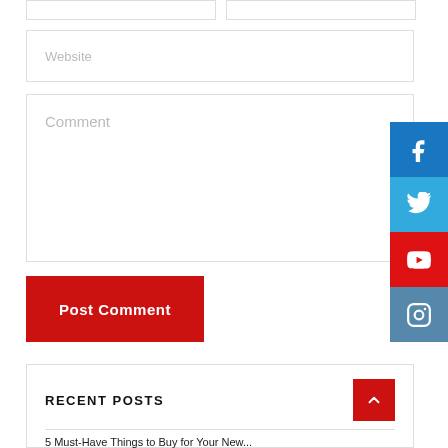[Figure (screenshot): Two side-by-side input fields at top of a web comment form]
[Figure (screenshot): Website input field with placeholder text 'Website']
[Figure (screenshot): Comment textarea with placeholder text 'Comment']
[Figure (screenshot): Red 'Post Comment' button]
[Figure (screenshot): Social media icons: Facebook, Twitter, YouTube, Instagram on right edge]
RECENT POSTS
5 Must-Have Things to Buy for Your New...